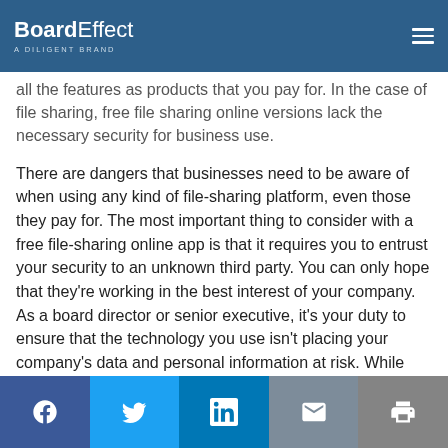BoardEffect — A Diligent Brand
all the features as products that you pay for. In the case of file sharing, free file sharing online versions lack the necessary security for business use.
There are dangers that businesses need to be aware of when using any kind of file-sharing platform, even those they pay for. The most important thing to consider with a free file-sharing online app is that it requires you to entrust your security to an unknown third party. You can only hope that they're working in the best interest of your company. As a board director or senior executive, it's your duty to ensure that the technology you use isn't placing your company's data and personal information at risk. While today's advanced technology accompanies many new dangers, it's also the solution to highly secure file-sharing technology when you use a BoardEffect board management
Facebook | Twitter | LinkedIn | Email | Print